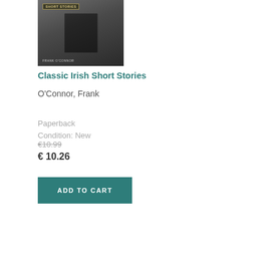[Figure (photo): Book cover of 'Classic Irish Short Stories' by Frank O'Connor showing a black and white photograph of a horse at what appears to be a market, with 'SHORT STORIES' label at the top and 'FRANK O'CONNOR' at the bottom]
Classic Irish Short Stories
O'Connor, Frank
Paperback
Condition: New
€10.99
€ 10.26
ADD TO CART
[Figure (photo): Book cover with brown/dark red background showing gold text: 'OF ARTHOUR AND OF MERLIN']